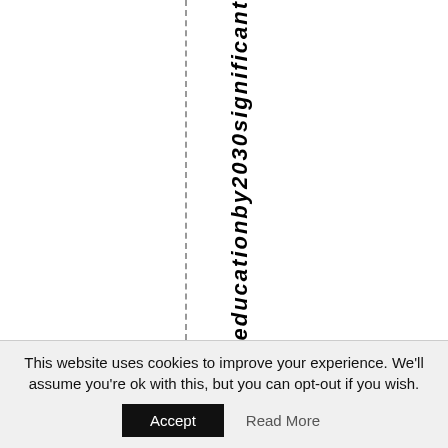educationby2030significant
This website uses cookies to improve your experience. We'll assume you're ok with this, but you can opt-out if you wish.